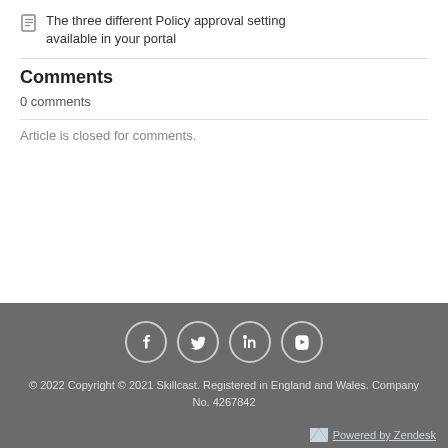The three different Policy approval setting available in your portal
Comments
0 comments
Article is closed for comments.
© 2022 Copyright © 2021 Skillcast. Registered in England and Wales. Company No. 4267842
Powered by Zendesk